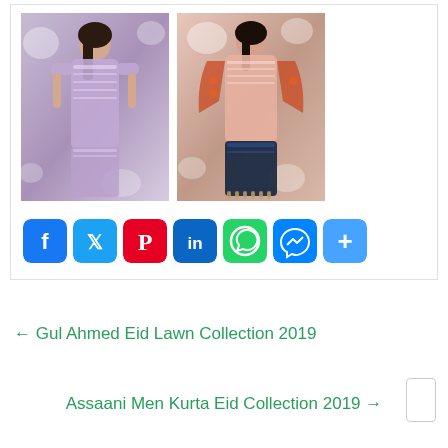[Figure (photo): Two fashion photos showing women in Pakistani traditional dresses. Left: woman in lavender/silver embroidered outfit. Right: woman in pink/rose embroidered suit with floral dupatta.]
[Figure (infographic): Social media sharing buttons: Facebook (blue), Twitter (blue), Pinterest (red), LinkedIn (blue), WhatsApp (green), Messenger (blue), Share/More (blue)]
← Gul Ahmed Eid Lawn Collection 2019
Assaani Men Kurta Eid Collection 2019 →